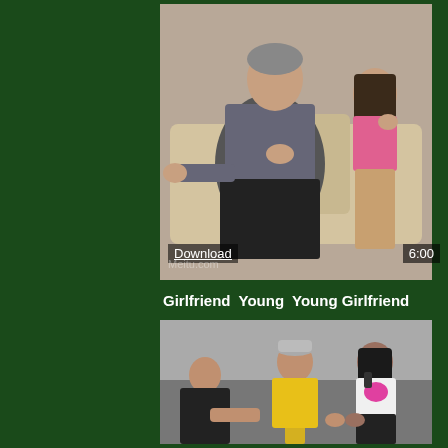[Figure (photo): Video thumbnail showing two people sitting on a couch - an older man in a patterned sweater and a young woman in pink top]
Download
6:00
Girlfriend   Young   Young Girlfriend
[Figure (photo): Video thumbnail showing three people standing - a woman in black on left, man in yellow shirt center, woman in white top on right]